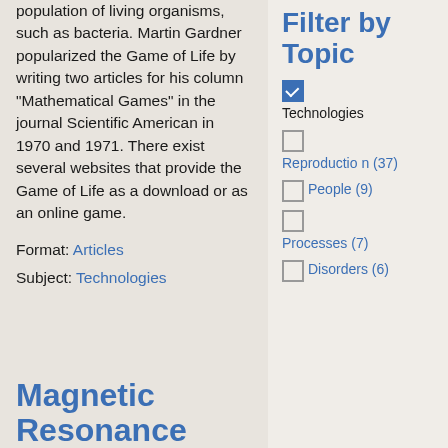population of living organisms, such as bacteria. Martin Gardner popularized the Game of Life by writing two articles for his column "Mathematical Games" in the journal Scientific American in 1970 and 1971. There exist several websites that provide the Game of Life as a download or as an online game.
Format: Articles
Subject: Technologies
Magnetic Resonance
Filter by Topic
Technologies (checked)
Reproduction (37)
People (9)
Processes (7)
Disorders (6)